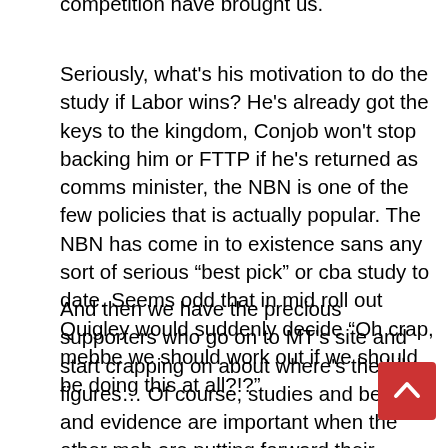competition have brought us.
Seriously, what's his motivation to do the study if Labor wins? He's already got the keys to the kingdom, Conjob won't stop backing him or FTTP if he's returned as comms minister, the NBN is one of the few policies that is actually popular. The NBN has come in to existence sans any sort of serious “best pick” or cba study to date. Seems odd that in mid roll out Quigley would suddenly decide “Oh crap, mebbe we should work out if we should be doing this at all?!?”
And then we have the precious supporters who go on to MT's site and start crapping on about where's the Libs figures… Of course, studies and benefits and evidence are important when the other mob are putting forward their policy(whatever that might be), but not so much when it's the plan you like? Labor should have done the due diligence back in the day, and the